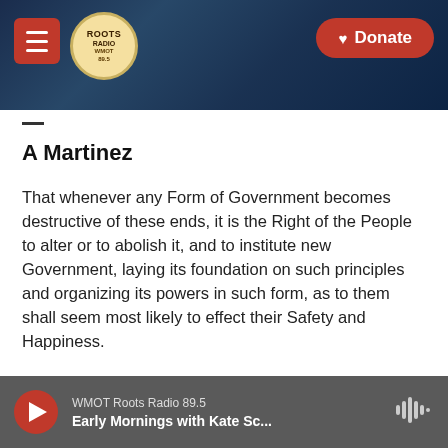Roots Radio — Donate
A Martinez
That whenever any Form of Government becomes destructive of these ends, it is the Right of the People to alter or to abolish it, and to institute new Government, laying its foundation on such principles and organizing its powers in such form, as to them shall seem most likely to effect their Safety and Happiness.
Noel King
WMOT Roots Radio 89.5 — Early Mornings with Kate Sc...